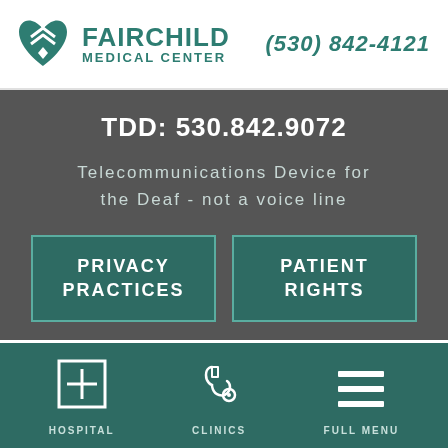[Figure (logo): Fairchild Medical Center logo: teal heart with chevron/diamond icon, text FAIRCHILD MEDICAL CENTER]
(530) 842-4121
TDD: 530.842.9072
Telecommunications Device for the Deaf - not a voice line
PRIVACY PRACTICES
PATIENT RIGHTS
[Figure (illustration): Hospital H icon (square outline with H letter)]
HOSPITAL
[Figure (illustration): Stethoscope icon]
CLINICS
[Figure (illustration): Three horizontal lines hamburger menu icon]
FULL MENU